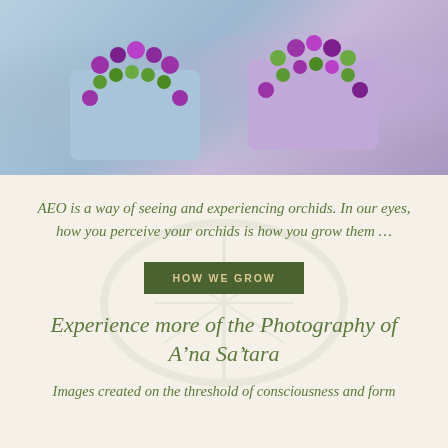[Figure (photo): Two people wearing colorful purple and green orchid leis, dressed in light blue/lavender shirts, photographed from the neck/chest area upward]
AEO is a way of seeing and experiencing orchids.  In our eyes, how you perceive your orchids is how you grow them …
HOW WE GROW
Experience more of the Photography of A'na Sa'tara
Images created on the threshold of consciousness and form